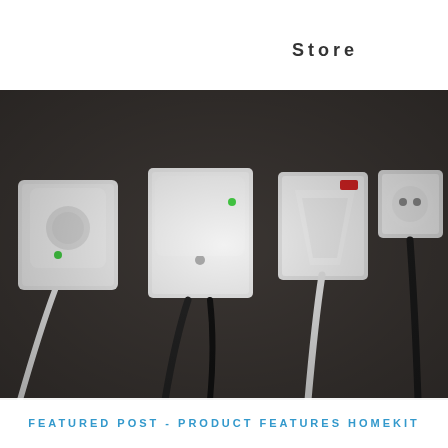Store
[Figure (photo): Four white electrical outlet adapters/smart plugs with cords plugged into wall sockets against a dark brown/gray wall. From left to right: a square white smart plug with green LED and white cable, a white smart plug with green LED and black cables on a US-style outlet plate, a triangular-shaped white plug adapter with a red indicator on a wall plate, and a round European-style white plug with a black cable in a square wall plate.]
FEATURED POST - PRODUCT FEATURES HOMEKIT